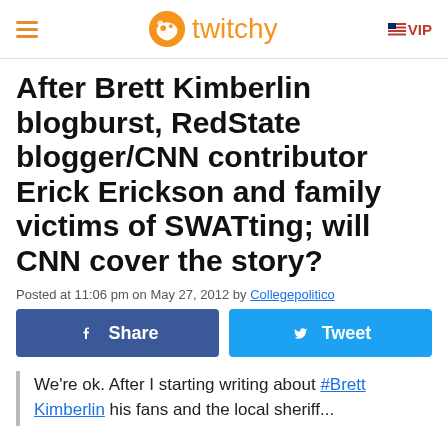twitchy | VIP
After Brett Kimberlin blogburst, RedState blogger/CNN contributor Erick Erickson and family victims of SWATting; will CNN cover the story?
Posted at 11:06 pm on May 27, 2012 by Collegepolitico
Share | Tweet
We're ok. After I starting writing about #Brett Kimberlin his fans and the local sheriff...